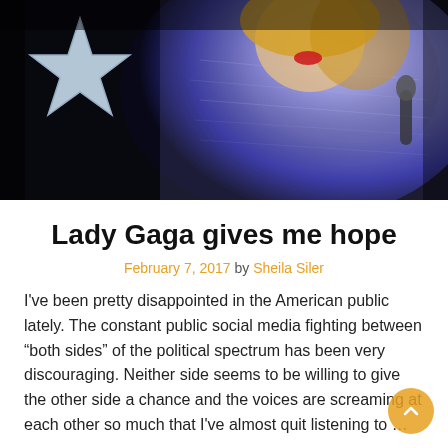[Figure (photo): Photo of Lady Gaga performing in a sparkly silver/blue sequined outfit, holding a microphone, with a large star prop visible on the left side. Dark background.]
Lady Gaga gives me hope
February 7, 2017 by Sheila Siler
I've been pretty disappointed in the American public lately. The constant public social media fighting between “both sides” of the political spectrum has been very discouraging. Neither side seems to be willing to give the other side a chance and the voices are screaming at each other so much that I've almost quit listening to …